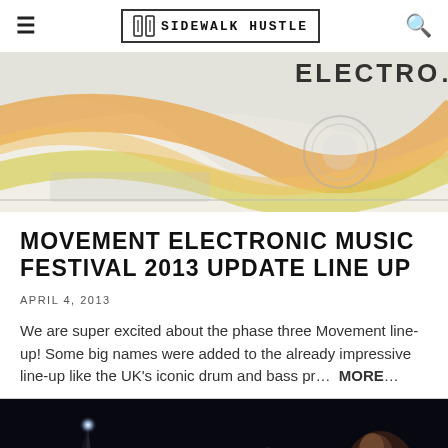SIDEWALK HUSTLE
[Figure (photo): Colorful swirling abstract graphic with orange, yellow, and light colors on a white background, partially showing the word ELECTRON in bold dark text on the right side.]
MOVEMENT ELECTRONIC MUSIC FESTIVAL 2013 UPDATE LINE UP
APRIL 4, 2013
We are super excited about the phase three Movement line-up! Some big names were added to the already impressive line-up like the UK's iconic drum and bass pr…  MORE...
[Figure (photo): Dark concert photo showing a performer on stage with bright spotlights and light beams in a dark venue.]